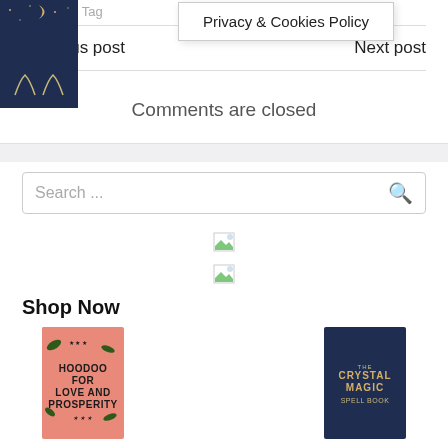Tags: No Tag
Privacy & Cookies Policy
Previous post
Next post
Comments are closed
Search ...
[Figure (illustration): Broken image placeholder icon]
[Figure (illustration): Broken image placeholder icon]
Shop Now
[Figure (photo): Book cover: Hoodoo for Love and Prosperity, pink/salmon background with botanical illustrations]
[Figure (photo): Book cover: The Crystal Magic Spell Book, dark navy background with golden decorative elements]